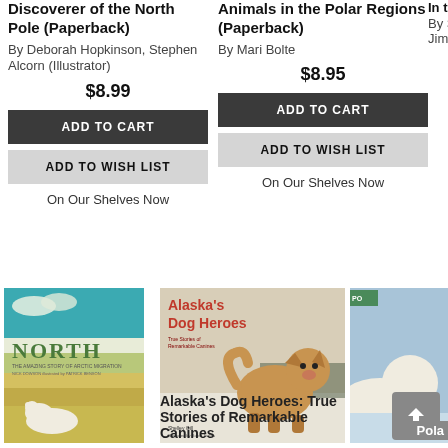Discoverer of the North Pole (Paperback)
By Deborah Hopkinson, Stephen Alcorn (Illustrator)
$8.99
ADD TO CART
ADD TO WISH LIST
On Our Shelves Now
Animals in the Polar Regions (Paperback)
By Mari Bolte
$8.95
ADD TO CART
ADD TO WISH LIST
On Our Shelves Now
In the...
By Su... Jim R...
[Figure (photo): Book cover for NORTH: The Amazing Story of Arctic Migration by Nick Dowson, illustrated by Patrick Benson. Shows a polar bear on arctic landscape with teal sky.]
North: The Amazing
[Figure (photo): Book cover for Alaska's Dog Heroes: True Stories of Remarkable Canines by Shelley Gill. Shows a husky dog standing in a snowy landscape.]
Alaska's Dog Heroes: True Stories of Remarkable Canines
[Figure (photo): Partial book cover for a polar-themed book, partially cropped. Shows polar bears on ice.]